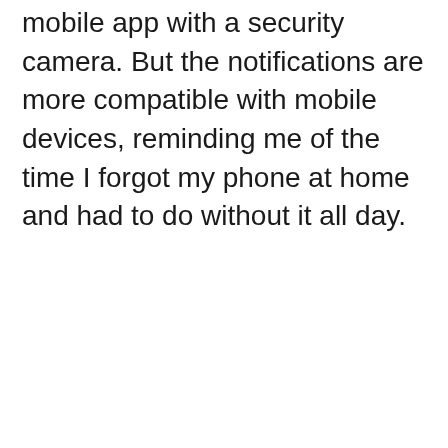mobile app with a security camera. But the notifications are more compatible with mobile devices, reminding me of the time I forgot my phone at home and had to do without it all day.